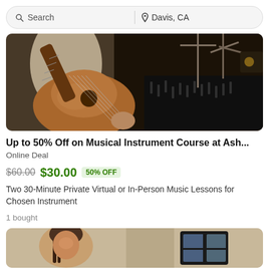Search | Davis, CA
[Figure (photo): Person playing acoustic guitar in a recording studio with microphone stand and mixing board in background]
Up to 50% Off on Musical Instrument Course at Ash...
Online Deal
$60.00  $30.00  50% OFF
Two 30-Minute Private Virtual or In-Person Music Lessons for Chosen Instrument
1 bought
[Figure (photo): Partial view of another deal listing showing a person, cropped at bottom of page]